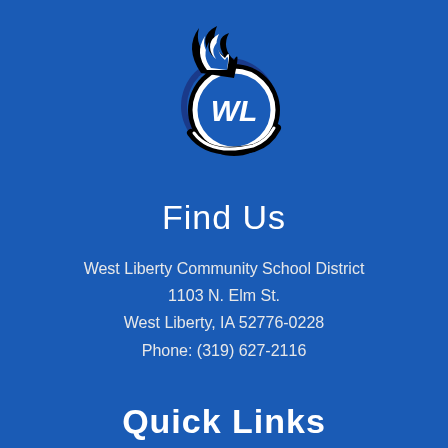[Figure (logo): West Liberty school district logo: a blue circle with 'WL' letters in white, with flame/swoosh graphic in black and blue]
Find Us
West Liberty Community School District
1103 N. Elm St.
West Liberty, IA 52776-0228
Phone: (319) 627-2116
Quick Links
Live Feed